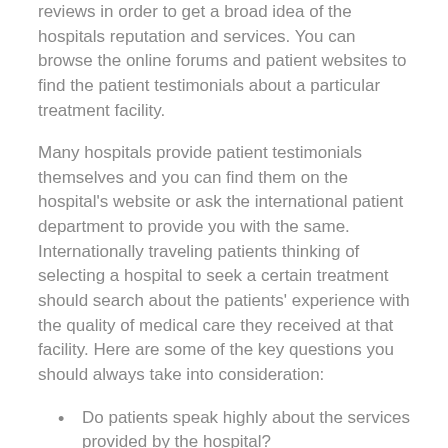reviews in order to get a broad idea of the hospitals reputation and services. You can browse the online forums and patient websites to find the patient testimonials about a particular treatment facility.
Many hospitals provide patient testimonials themselves and you can find them on the hospital's website or ask the international patient department to provide you with the same. Internationally traveling patients thinking of selecting a hospital to seek a certain treatment should search about the patients' experience with the quality of medical care they received at that facility. Here are some of the key questions you should always take into consideration:
Do patients speak highly about the services provided by the hospital?
Are they willing to come back to same hospital for treatments, if any, in the future?